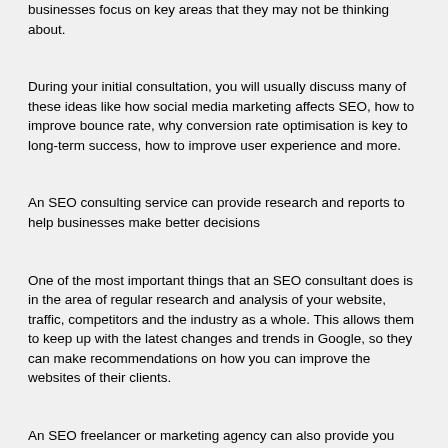businesses focus on key areas that they may not be thinking about.
During your initial consultation, you will usually discuss many of these ideas like how social media marketing affects SEO, how to improve bounce rate, why conversion rate optimisation is key to long-term success, how to improve user experience and more.
An SEO consulting service can provide research and reports to help businesses make better decisions
One of the most important things that an SEO consultant does is in the area of regular research and analysis of your website, traffic, competitors and the industry as a whole. This allows them to keep up with the latest changes and trends in Google, so they can make recommendations on how you can improve the websites of their clients.
An SEO freelancer or marketing agency can also provide you with reports that show how your website's online presence is performing and where there are areas that need improvement to get you to the top of the search engine result pages. These reports can be